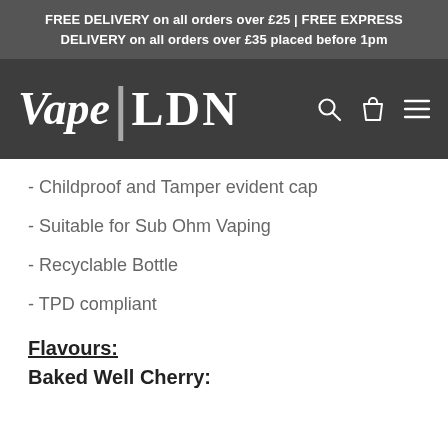FREE DELIVERY on all orders over £25 | FREE EXPRESS DELIVERY on all orders over £35 placed before 1pm
[Figure (logo): Vape LDN logo with search, cart, and menu icons on dark background]
- Childproof and Tamper evident cap
- Suitable for Sub Ohm Vaping
- Recyclable Bottle
- TPD compliant
Flavours:
Baked Well Cherry: